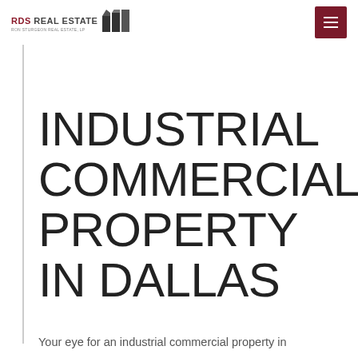RDS REAL ESTATE | RON STURGEON REAL ESTATE, LP
INDUSTRIAL COMMERCIAL PROPERTY IN DALLAS
Your eye for an industrial commercial property in